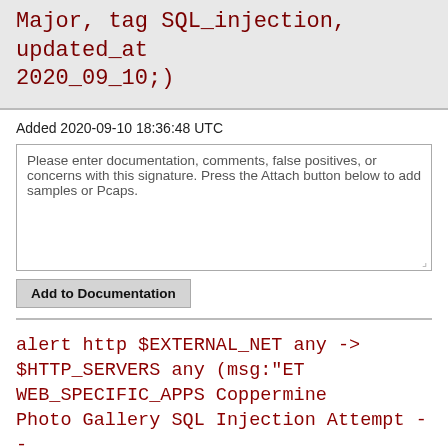Major, tag SQL_injection, updated_at 2020_09_10;)
Added 2020-09-10 18:36:48 UTC
Please enter documentation, comments, false positives, or concerns with this signature. Press the Attach button below to add samples or Pcaps.
Add to Documentation
alert http $EXTERNAL_NET any -> $HTTP_SERVERS any (msg:"ET WEB_SPECIFIC_APPS Coppermine Photo Gallery SQL Injection Attempt -- db_ecard.php start ASCII"; flow:established,to_server; content:"/db_ecard.php?"; nocase; http_uri; content:"start="; nocase; http_uri; content:"SELECT"; nocase; http_uri;